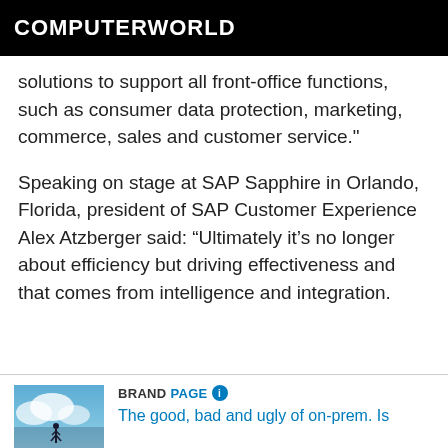COMPUTERWORLD
solutions to support all front-office functions, such as consumer data protection, marketing, commerce, sales and customer service."
Speaking on stage at SAP Sapphire in Orlando, Florida, president of SAP Customer Experience Alex Atzberger said: “Ultimately it’s no longer about efficiency but driving effectiveness and that comes from intelligence and integration.
[Figure (photo): Small thumbnail image with blue sky and a figure silhouette]
BRANDPAGE ⓘ The good, bad and ugly of on-prem. Is